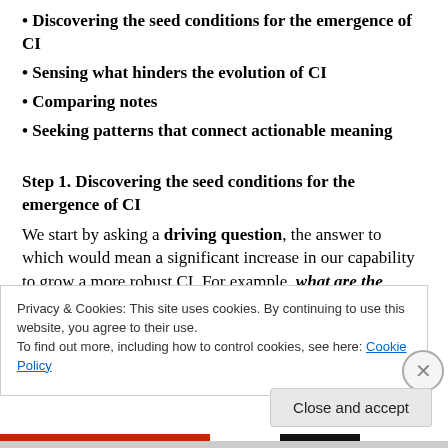• Discovering the seed conditions for the emergence of CI
• Sensing what hinders the evolution of CI
• Comparing notes
• Seeking patterns that connect actionable meaning
Step 1. Discovering the seed conditions for the emergence of CI
We start by asking a driving question, the answer to which would mean a significant increase in our capability to grow a more robust CI. For example, what are the
Privacy & Cookies: This site uses cookies. By continuing to use this website, you agree to their use.
To find out more, including how to control cookies, see here: Cookie Policy
Close and accept